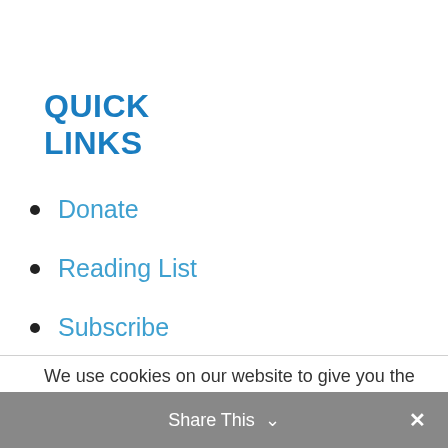QUICK LINKS
Donate
Reading List
Subscribe
We use cookies on our website to give you the most relevant experience by remembering your preferences and repeat visits. By clicking "Accept", you consent to the use of ALL the cookies.
ACCEPT   Read More
Share This ∨  ✕